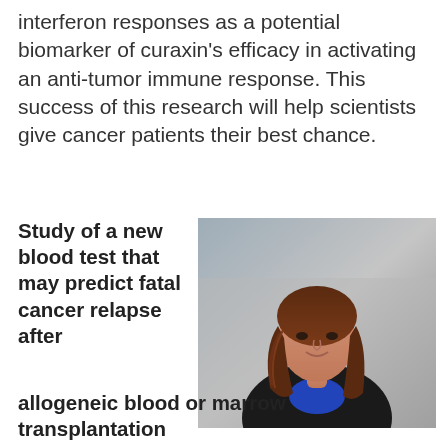interferon responses as a potential biomarker of curaxin's efficacy in activating an anti-tumor immune response. This success of this research will help scientists give cancer patients their best chance.
Study of a new blood test that may predict fatal cancer relapse after allogeneic blood or marrow transplantation
[Figure (photo): Portrait photo of a woman with long brown hair, wearing a black jacket and blue top, smiling, with a blurred grey background.]